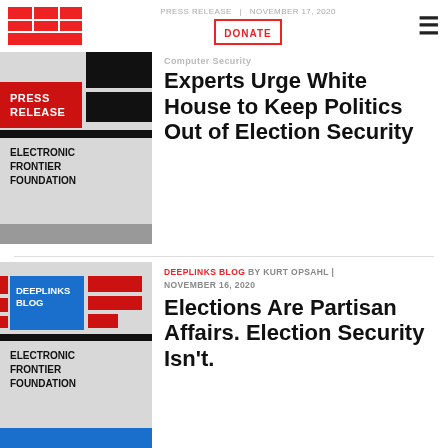EFF | PRESS RELEASE | NOVEMBER 17, 2020 | DONATE | (menu)
[Figure (logo): EFF Press Release Electronic Frontier Foundation thumbnail image]
Computer Security Experts Urge White House to Keep Politics Out of Election Security
[Figure (logo): EFF Deeplinks Blog Electronic Frontier Foundation thumbnail image]
DEEPLINKS BLOG BY KURT OPSAHL | NOVEMBER 16, 2020
Elections Are Partisan Affairs. Election Security Isn't.